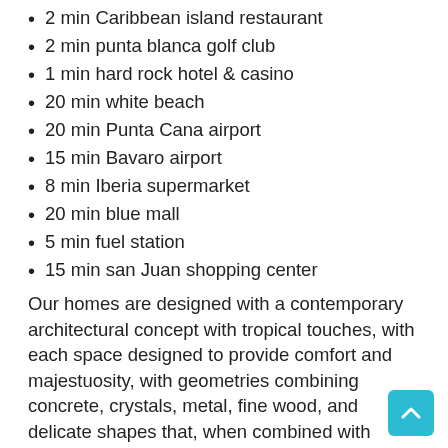2 min Caribbean island restaurant
2 min punta blanca golf club
1 min hard rock hotel & casino
20 min white beach
20 min Punta Cana airport
15 min Bavaro airport
8 min Iberia supermarket
20 min blue mall
5 min fuel station
15 min san Juan shopping center
Our homes are designed with a contemporary architectural concept with tropical touches, with each space designed to provide comfort and majestuosity, with geometries combining concrete, crystals, metal, fine wood, and delicate shapes that, when combined with exuberant landscapes, make every detail modern and pleasurable.
The interior features an open concept design with